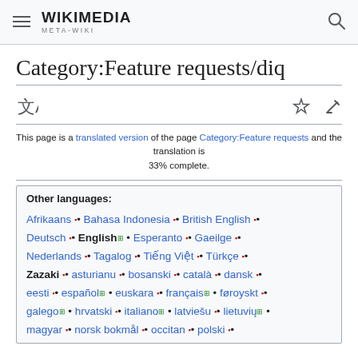WIKIMEDIA META-WIKI
Category:Feature requests/diq
This page is a translated version of the page Category:Feature requests and the translation is 33% complete.
Other languages: Afrikaans • Bahasa Indonesia • British English • Deutsch • English • Esperanto • Gaeilge • Nederlands • Tagalog • Tiếng Việt • Türkçe • Zazaki • asturianu • bosanski • català • dansk • eesti • español • euskara • français • føroyskt • galego • hrvatski • italiano • latviešu • lietuvių • magyar • norsk bokmål • occitan • polski •